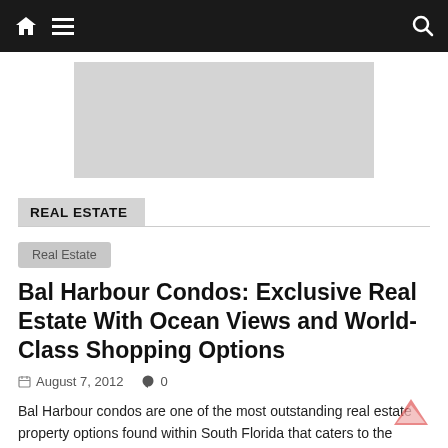Navigation bar with home icon, menu icon, search icon
[Figure (other): Gray placeholder rectangle representing an advertisement or image banner]
REAL ESTATE
Real Estate
Bal Harbour Condos: Exclusive Real Estate With Ocean Views and World-Class Shopping Options
August 7, 2012  0
Bal Harbour condos are one of the most outstanding real estate property options found within South Florida that caters to the high-end needs of people who are looking for absolute luxury within a truly sensational oceanfront setting.